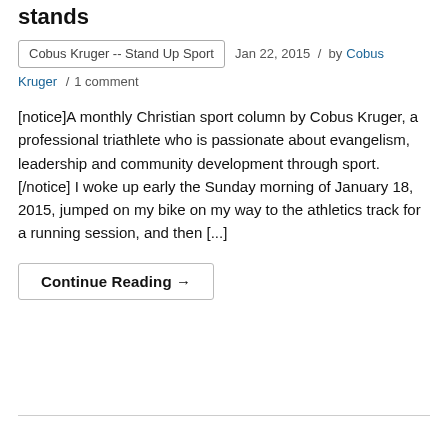stands
Cobus Kruger -- Stand Up Sport   Jan 22, 2015 / by Cobus Kruger / 1 comment
[notice]A monthly Christian sport column by Cobus Kruger, a professional triathlete who is passionate about evangelism, leadership and community development through sport. [/notice] I woke up early the Sunday morning of January 18, 2015, jumped on my bike on my way to the athletics track for a running session, and then [...]
Continue Reading →